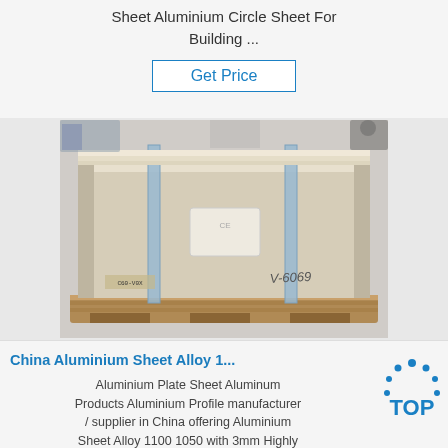Sheet Aluminium Circle Sheet For Building ...
Get Price
[Figure (photo): Packaged aluminium sheets stacked on a wooden pallet, wrapped in beige/cream protective packaging and secured with blue/grey strapping bands. A label or marking is visible on the side.]
China Aluminium Sheet Alloy 1...
Aluminium Plate Sheet Aluminum Products Aluminium Profile manufacturer / supplier in China offering Aluminium Sheet Alloy 1100 1050 with 3mm Highly